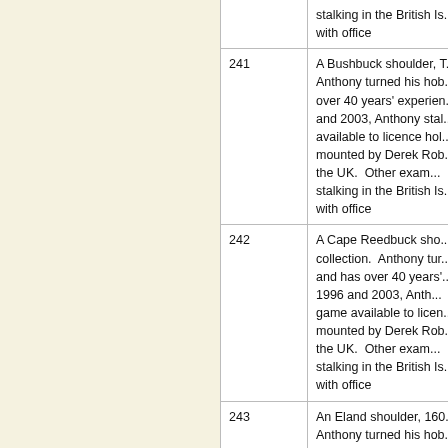| Lot | Description |
| --- | --- |
|  | stalking in the British Is... with office |
| 241 | A Bushbuck shoulder, T... Anthony turned his hob... over 40 years' experien... and 2003, Anthony stal... available to licence ho... mounted by Derek Rob... to the UK. Other exam... stalking in the British Is... with office |
| 242 | A Cape Reedbuck sho... collection. Anthony tur... and has over 40 years'... in 1996 and 2003, Anth... game available to licen... mounted by Derek Rob... to the UK. Other exam... stalking in the British Is... with office |
| 243 | An Eland shoulder, 160... Anthony turned his hob... |